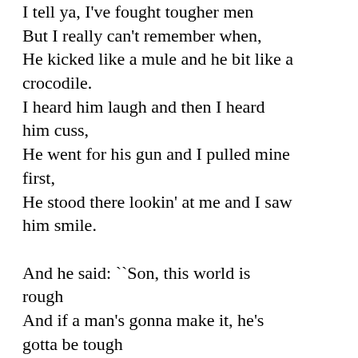I tell ya, I've fought tougher men
But I really can't remember when,
He kicked like a mule and he bit like a crocodile.
I heard him laugh and then I heard him cuss,
He went for his gun and I pulled mine first,
He stood there lookin' at me and I saw him smile.

And he said: ``Son, this world is rough
And if a man's gonna make it, he's gotta be tough
And I know I wouldn't be there to help ya along.